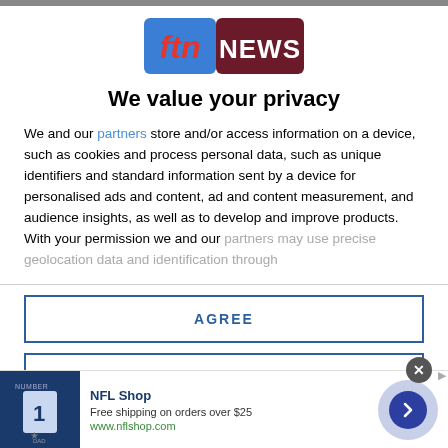[Figure (logo): FTN NEWS logo with red and dark maroon background, white text]
We value your privacy
We and our partners store and/or access information on a device, such as cookies and process personal data, such as unique identifiers and standard information sent by a device for personalised ads and content, ad and content measurement, and audience insights, as well as to develop and improve products. With your permission we and our partners may use precise geolocation data and identification through
AGREE
MORE OPTIONS
[Figure (screenshot): NFL Shop advertisement banner with jersey image, NFL Shop title, free shipping offer text, website url, and arrow button]